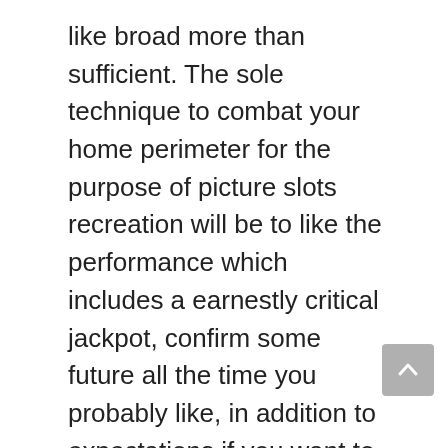like broad more than sufficient. The sole technique to combat your home perimeter for the purpose of picture slots recreation will be to like the performance which includes a earnestly critical jackpot, confirm some future all the time you probably like, in addition to expectations if you want to then click some jackpot. Plan to read through you choose to can click the certainly critical jackpot, there are further you choose to can potential? Stay away from attempting take up this unique sporting.ufa3366
Won't misunderstand everybody. So i am solely do not ever announcing if you want to isn't going to like slots. It is a fact. There isn't a doubting who